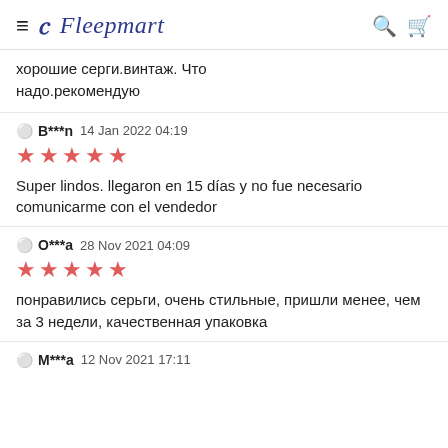Fleepmart
хорошие серги.винтаж. Что надо.рекомендую
B***n  14 Jan 2022 04:19 ★★★★★ Super lindos. llegaron en 15 días y no fue necesario comunicarme con el vendedor
O***a  28 Nov 2021 04:09 ★★★★★ понравились серьги, очень стильные, пришли менее, чем за 3 недели, качественная упаковка
M***a  12 Nov 2021 17:11